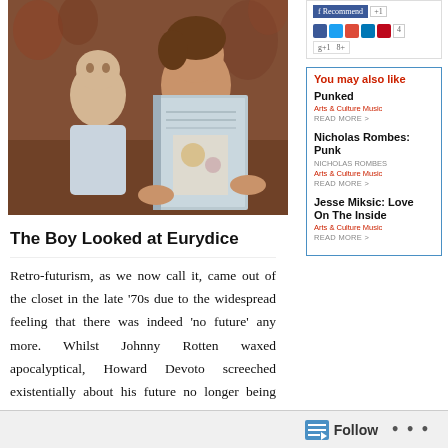[Figure (photo): Black-and-white vintage photo of a toddler and a young man holding up an open book, seated on a patterned couch/chair background.]
You may also like
Punked
Arts & Culture Music
READ MORE >
Nicholas Rombes: Punk
NICHOLAS ROMBES
Arts & Culture Music
READ MORE >
Jesse Miksic: Love On The Inside
Arts & Culture Music
READ MORE >
The Boy Looked at Eurydice
Retro-futurism, as we now call it, came out of the closet in the late ‘70s due to the widespread feeling that there was indeed ‘no future’ any more. Whilst Johnny Rotten waxed apocalyptical, Howard Devoto screeched existentially about his future no longer being what it was. Time seemed
Follow ...